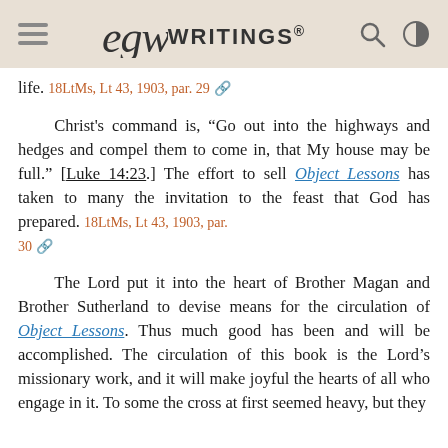EGW Writings®
life. 18LtMs, Lt 43, 1903, par. 29
Christ's command is, “Go out into the highways and hedges and compel them to come in, that My house may be full.” [Luke 14:23.] The effort to sell Object Lessons has taken to many the invitation to the feast that God has prepared. 18LtMs, Lt 43, 1903, par. 30
The Lord put it into the heart of Brother Magan and Brother Sutherland to devise means for the circulation of Object Lessons. Thus much good has been and will be accomplished. The circulation of this book is the Lord’s missionary work, and it will make joyful the hearts of all who engage in it. To some the cross at first seemed heavy, but they